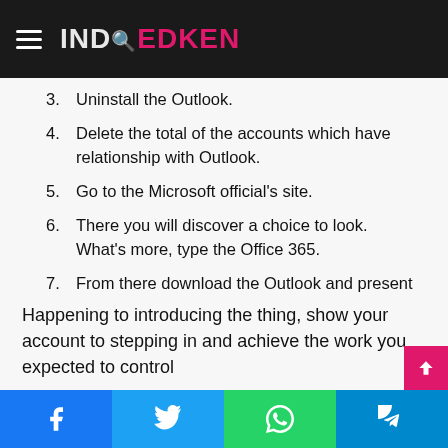IND EDKEN
3. Uninstall the Outlook.
4. Delete the total of the accounts which have relationship with Outlook.
5. Go to the Microsoft official’s site.
6. There you will discover a choice to look. What’s more, type the Office 365.
7. From there download the Outlook and present the absolutely friendly event.
8. Remember, don't miss any development while introducing the application.
Happening to introducing the thing, show your account to stepping in and achieve the work you expected to control